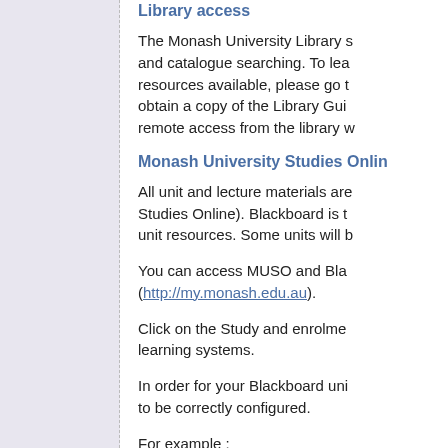Library access
The Monash University Library s... and catalogue searching. To lea... resources available, please go t... obtain a copy of the Library Gui... remote access from the library w...
Monash University Studies Onlin...
All unit and lecture materials are... Studies Online). Blackboard is t... unit resources. Some units will b...
You can access MUSO and Bla... (http://my.monash.edu.au).
Click on the Study and enrolme... learning systems.
In order for your Blackboard uni... to be correctly configured.
For example :
Blackboard must b...